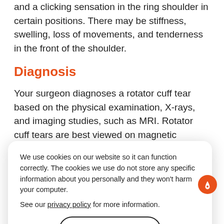and a clicking sensation in the ring shoulder in certain positions. There may be stiffness, swelling, loss of movements, and tenderness in the front of the shoulder.
Diagnosis
Your surgeon diagnoses a rotator cuff tear based on the physical examination, X-rays, and imaging studies, such as MRI. Rotator cuff tears are best viewed on magnetic resonance imaging (MRI).
Conservative Treatment Options
Rest
Should...
Anti-inflammatory Medication
Injection of a steroid (cortisone) and a local anesthetic in the subacromial space of the affected shoulder to
We use cookies on our website so it can function correctly. The cookies we use do not store any specific information about you personally and they won't harm your computer.

See our privacy policy for more information.